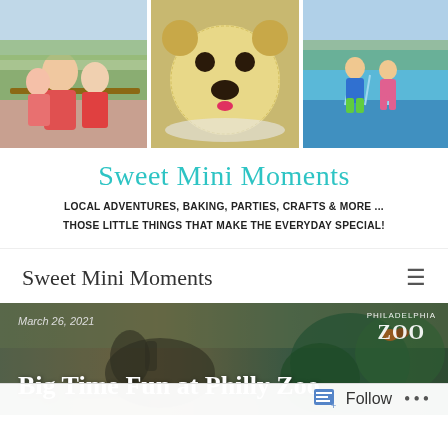[Figure (photo): Three-panel blog header: left panel shows a woman with two children sitting on a bench with green fields behind; center panel shows a bear-face cake decorated with coconut, Oreos and candy; right panel shows two children playing in a splash pad with blue water.]
Sweet Mini Moments
LOCAL ADVENTURES, BAKING, PARTIES, CRAFTS & MORE ... THOSE LITTLE THINGS THAT MAKE THE EVERYDAY SPECIAL!
Sweet Mini Moments
[Figure (photo): Hero banner image for blog post 'Big Time Fun at Philly Zoo' dated March 26, 2021, showing a dinosaur statue silhouette on the left and lush green vegetation on the right with a Philadelphia Zoo logo badge in the upper right corner.]
March 26, 2021
Big Time Fun at Philly Zoo